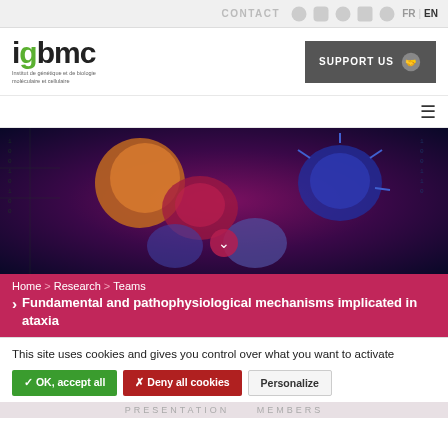CONTACT  FR | EN
[Figure (logo): IGBMC logo with green accent and subtitle text about molecular biology]
[Figure (illustration): SUPPORT US button with handshake icon]
[Figure (illustration): Decorative cell biology hero image showing cancer/immune cells against digital background]
Home > Research > Teams
Fundamental and pathophysiological mechanisms implicated in ataxia
This site uses cookies and gives you control over what you want to activate
✓ OK, accept all   ✗ Deny all cookies   Personalize
PRESENTATION   Members